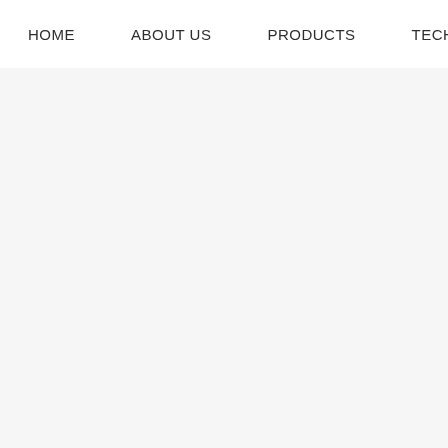HOME   ABOUT US   PRODUCTS   TECHNOL...